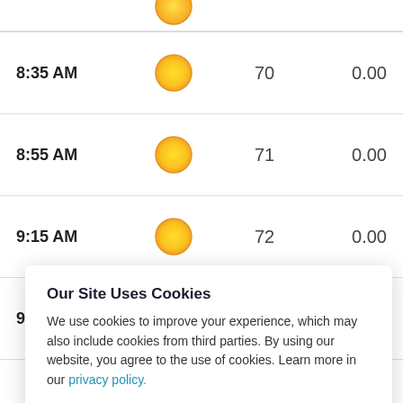| Time | Icon | Temp | Precip |
| --- | --- | --- | --- |
| 8:35 AM | ☀ | 70 | 0.00 |
| 8:55 AM | ☀ | 71 | 0.00 |
| 9:15 AM | ☀ | 72 | 0.00 |
| 9:35 AM | ☀ | 73 | 0.00 |
|  |  |  | 0.00 |
|  |  |  | 0.00 |
|  |  |  | 0.00 |
|  |  |  | 0.00 |
Our Site Uses Cookies
We use cookies to improve your experience, which may also include cookies from third parties. By using our website, you agree to the use of cookies. Learn more in our privacy policy.
ACCEPT & CLOSE